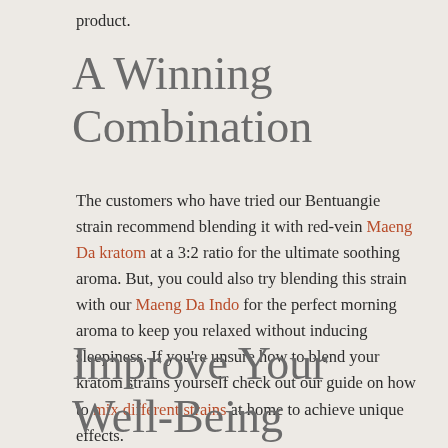product.
A Winning Combination
The customers who have tried our Bentuangie strain recommend blending it with red-vein Maeng Da kratom at a 3:2 ratio for the ultimate soothing aroma. But, you could also try blending this strain with our Maeng Da Indo for the perfect morning aroma to keep you relaxed without inducing sleepiness. If you’re unsure how to blend your kratom strains yourself check out our guide on how to mix different strains at home to achieve unique effects.
Improve Your Well-Being Holistically with